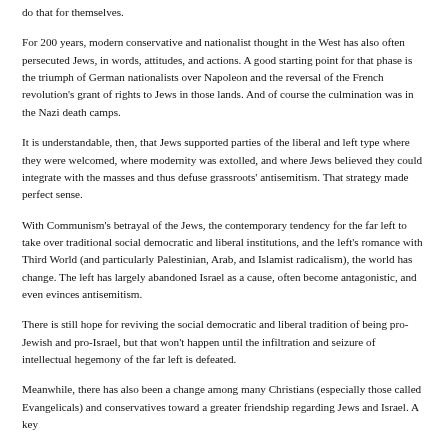do that for themselves.
For 200 years, modern conservative and nationalist thought in the West has also often persecuted Jews, in words, attitudes, and actions. A good starting point for that phase is the triumph of German nationalists over Napoleon and the reversal of the French revolution's grant of rights to Jews in those lands. And of course the culmination was in the Nazi death camps.
It is understandable, then, that Jews supported parties of the liberal and left type where they were welcomed, where modernity was extolled, and where Jews believed they could integrate with the masses and thus defuse grassroots' antisemitism. That strategy made perfect sense.
With Communism's betrayal of the Jews, the contemporary tendency for the far left to take over traditional social democratic and liberal institutions, and the left's romance with Third World (and particularly Palestinian, Arab, and Islamist radicalism), the world has change. The left has largely abandoned Israel as a cause, often become antagonistic, and even evinces antisemitism.
There is still hope for reviving the social democratic and liberal tradition of being pro-Jewish and pro-Israel, but that won't happen until the infiltration and seizure of intellectual hegemony of the far left is defeated.
Meanwhile, there has also been a change among many Christians (especially those called Evangelicals) and conservatives toward a greater friendship regarding Jews and Israel. A key